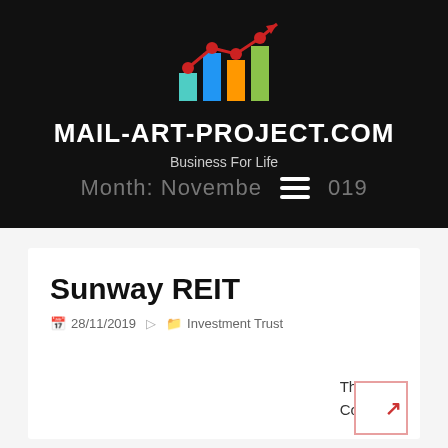[Figure (logo): Bar chart logo with rising trend line in red, bars in teal/blue/orange/green colors]
MAIL-ART-PROJECT.COM
Business For Life
Month: November 2019
Sunway REIT
28/11/2019   Investment Trust
The Coalition